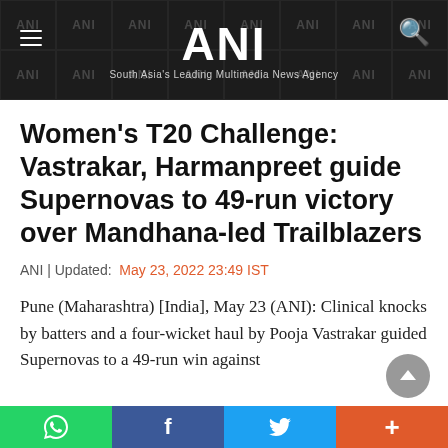ANI | South Asia's Leading Multimedia News Agency
Women's T20 Challenge: Vastrakar, Harmanpreet guide Supernovas to 49-run victory over Mandhana-led Trailblazers
ANI | Updated: May 23, 2022 23:49 IST
Pune (Maharashtra) [India], May 23 (ANI): Clinical knocks by batters and a four-wicket haul by Pooja Vastrakar guided Supernovas to a 49-run win against
WhatsApp | Facebook | Twitter | More